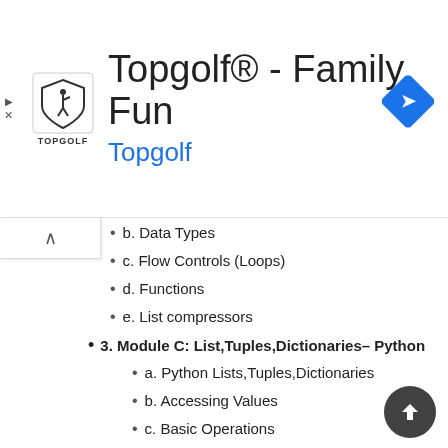[Figure (screenshot): Topgolf advertisement banner with shield logo, 'Topgolf® - Family Fun' title, blue 'Topgolf' subtitle, and blue navigation diamond icon]
b. Data Types
c. Flow Controls (Loops)
d. Functions
e. List compressors
3. Module C: List,Tuples,Dictionaries– Python
a. Python Lists,Tuples,Dictionaries
b. Accessing Values
c. Basic Operations
d. Indexing, Slicing, and Matrixes
e. Built-in Functions & Methods